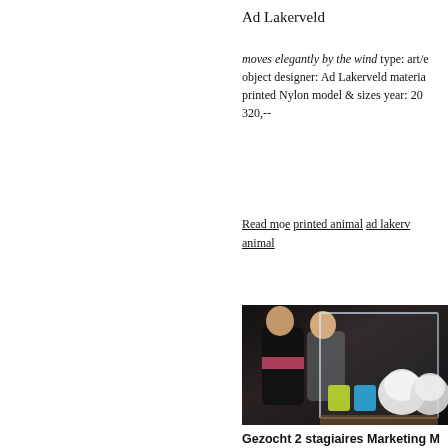Ad Lakerveld
moves elegantly by the wind type: art/c object designer: Ad Lakerveld materia printed Nylon model & sizes year: 20 320,--
Read more printed animal ad lakerv animal
[Figure (photo): Two people looking into a clear glass display box containing white organic-shaped objects and colored liquid containers (yellow and blue), displayed on a table in a dark room.]
Gezocht 2 stagiaires Marketing M Event productie